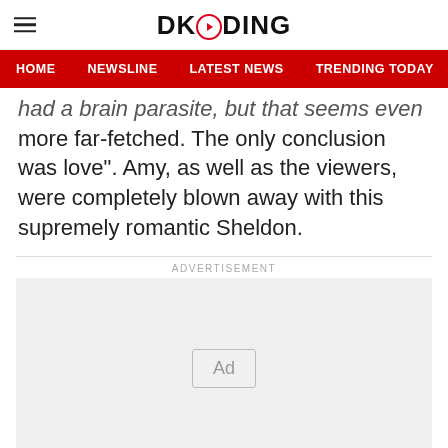DKODING
HOME  NEWSLINE  LATEST NEWS  TRENDING TODAY  ENT
had a brain parasite, but that seems even more far-fetched. The only conclusion was love”. Amy, as well as the viewers, were completely blown away with this supremely romantic Sheldon.
ADVERTISEMENT
[Figure (other): Advertisement placeholder box with 'Ad' label]